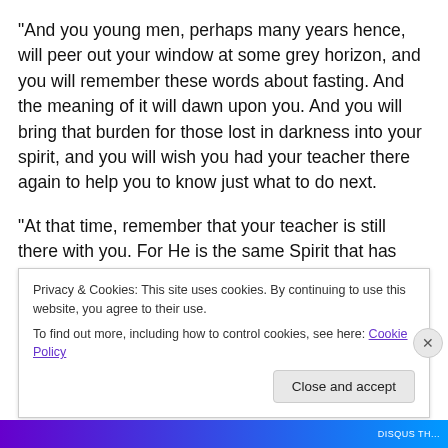“And you young men, perhaps many years hence, will peer out your window at some grey horizon, and you will remember these words about fasting.  And the meaning of it will dawn upon you.  And you will bring that burden for those lost in darkness into your spirit, and you will wish you had your teacher there again to help you to know just what to do next.
“At that time, remember that your teacher is still  there with you. For He is the same Spirit that has taught you through me.  He is the Comforter, the Holy Spirit within your very
Privacy & Cookies: This site uses cookies. By continuing to use this website, you agree to their use.
To find out more, including how to control cookies, see here: Cookie Policy